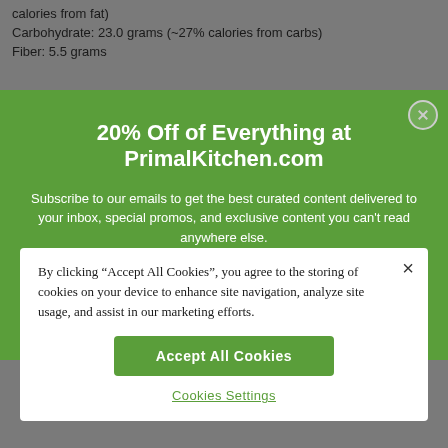calories from fat)
Carbohydrate: 23.0 grams (~27% calories from carbs)
Fiber: 5.5 grams
20% Off of Everything at PrimalKitchen.com
Subscribe to our emails to get the best curated content delivered to your inbox, special promos, and exclusive content you can't read anywhere else.
By clicking “Accept All Cookies”, you agree to the storing of cookies on your device to enhance site navigation, analyze site usage, and assist in our marketing efforts.
Accept All Cookies
Cookies Settings